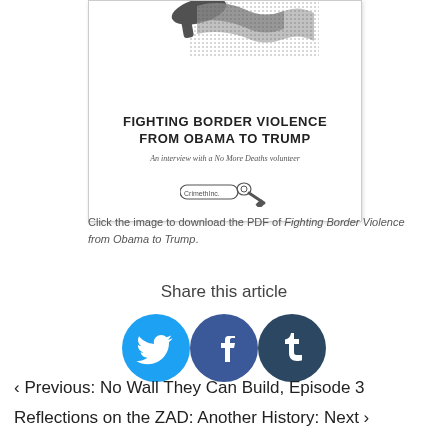[Figure (illustration): Book cover image: Fighting Border Violence from Obama to Trump, an interview with a No More Deaths volunteer. CrimethInc. logo at bottom. Top portion shows a flag image.]
Click the image to download the PDF of Fighting Border Violence from Obama to Trump.
Share this article
[Figure (infographic): Three social media share icons: Twitter (blue bird), Facebook (dark blue f), Tumblr (dark teal t)]
‹ Previous: No Wall They Can Build, Episode 3
Reflections on the ZAD: Another History: Next ›